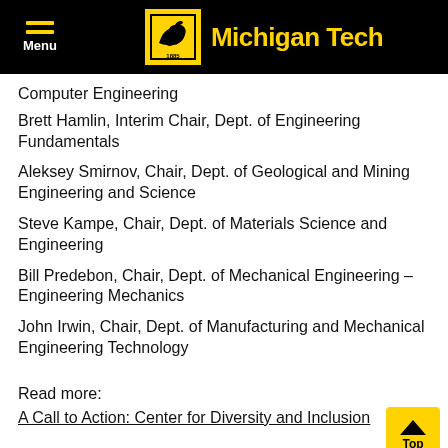Michigan Tech
Computer Engineering
Brett Hamlin, Interim Chair, Dept. of Engineering Fundamentals
Aleksey Smirnov, Chair, Dept. of Geological and Mining Engineering and Science
Steve Kampe, Chair, Dept. of Materials Science and Engineering
Bill Predebon, Chair, Dept. of Mechanical Engineering – Engineering Mechanics
John Irwin, Chair, Dept. of Manufacturing and Mechanical Engineering Technology
Read more:
A Call to Action: Center for Diversity and Inclusion